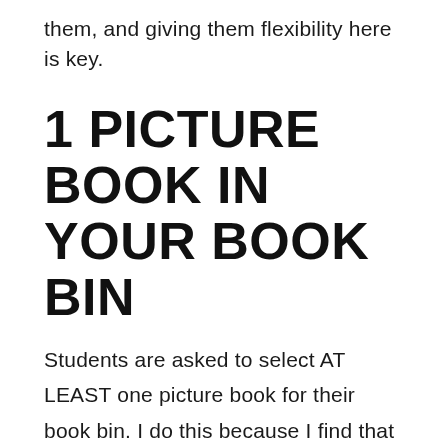them, and giving them flexibility here is key.
1 PICTURE BOOK IN YOUR BOOK BIN
Students are asked to select AT LEAST one picture book for their book bin. I do this because I find that as students get older, there is a misconception that chapter books are "big kid books" and picture books are "baby books."
The truth is that many picture books are written at a higher reading level than the chapter books they are scrambling to get their